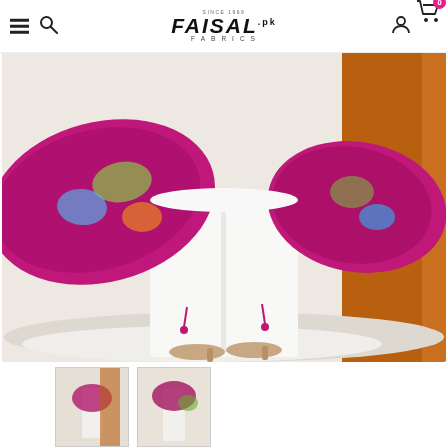[Figure (screenshot): Faisal Fabrics website header with hamburger menu, search icon, brand logo, user icon, and cart icon with badge showing 0]
[Figure (photo): Fashion product photo showing a woman from waist down wearing white wide-leg trousers and a colorful magenta/floral print dupatta/shawl, with tan heels, against a light background with orange fabric curtain on the right]
[Figure (photo): Thumbnail 1: Small product photo showing full outfit view]
[Figure (photo): Thumbnail 2: Small product photo showing another model view]